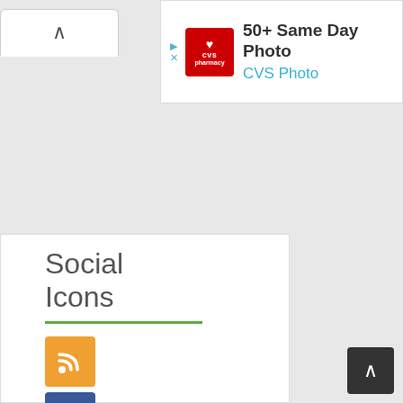[Figure (screenshot): CVS Pharmacy advertisement banner with logo, '50+ Same Day Photo' headline and 'CVS Photo' subtext]
[Figure (screenshot): Navigation tab with up-caret chevron symbol]
Social Icons
[Figure (illustration): Four social media icons stacked vertically: RSS (orange), Facebook (blue), Twitter (light blue), Google+ (red-orange)]
Subscribe to our mailing
[Figure (screenshot): Dark grey back-to-top button with white up arrow in bottom right corner]